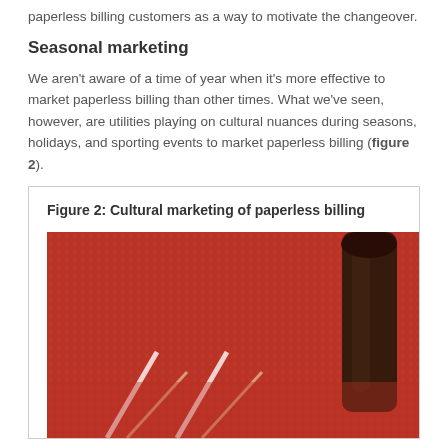paperless billing customers as a way to motivate the changeover.
Seasonal marketing
We aren't aware of a time of year when it's more effective to market paperless billing than other times. What we've seen, however, are utilities playing on cultural nuances during seasons, holidays, and sporting events to market paperless billing (figure 2).
Figure 2: Cultural marketing of paperless billing
[Figure (photo): A close-up photo of a running track surface showing red lanes with white lane markings and a person's leg/foot visible, suggesting a sporting event context.]